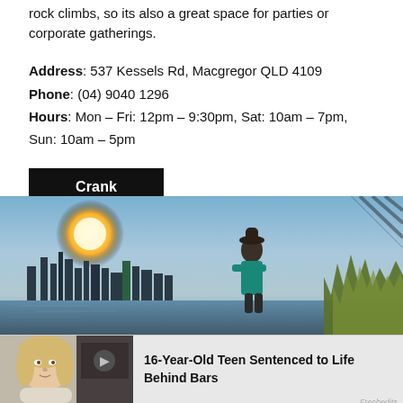rock climbs, so its also a great space for parties or corporate gatherings.
Address: 537 Kessels Rd, Macgregor QLD 4109
Phone: (04) 9040 1296
Hours: Mon – Fri: 12pm – 9:30pm, Sat: 10am – 7pm, Sun: 10am – 5pm
Crank
[Figure (photo): Outdoor photo of two people by a river with a city skyline in the background at sunset/golden hour. Green trees and grass visible on the right side. Diagonal striped pattern in upper-right corner.]
[Figure (photo): News thumbnail showing a young blonde woman on the left and a smaller image on the right. Headline reads: 16-Year-Old Teen Sentenced to Life Behind Bars. Freshedits watermark in lower right.]